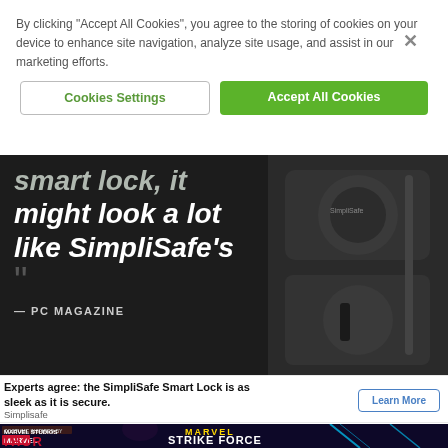By clicking “Accept All Cookies”, you agree to the storing of cookies on your device to enhance site navigation, analyze site usage, and assist in our marketing efforts.
Cookies Settings
Accept All Cookies
[Figure (photo): Dark-background hero section showing partial italic white text quote: 'smart lock, it might look a lot like SimpliSafe’s' with closing quotation marks below, attributed to PC MAGAZINE. On the right is a close-up photo of a black SimpliSafe smart lock device.]
Experts agree: the SimpliSafe Smart Lock is as sleek as it is secure.
Simplisafe
Learn More
[Figure (photo): Marvel Strike Force advertisement banner with Thor: Love and Thunder branding on dark purple background featuring a character and lightning effects.]